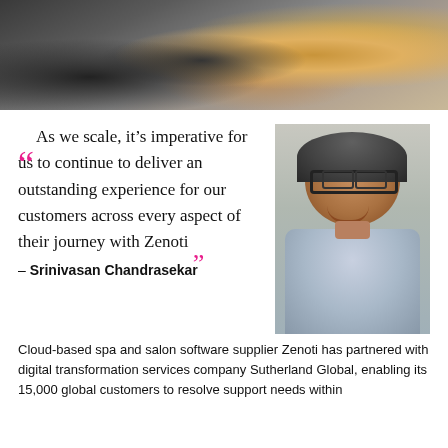[Figure (photo): Photo of hands holding a mobile device, blurred background with warm tones]
“ As we scale, it’s imperative for us to continue to deliver an outstanding experience for our customers across every aspect of their journey with Zenoti ”
[Figure (photo): Headshot of Srinivasan Chandrasekar, a smiling man wearing glasses and a light blue checked shirt]
– Srinivasan Chandrasekar
Cloud-based spa and salon software supplier Zenoti has partnered with digital transformation services company Sutherland Global, enabling its 15,000 global customers to resolve support needs within